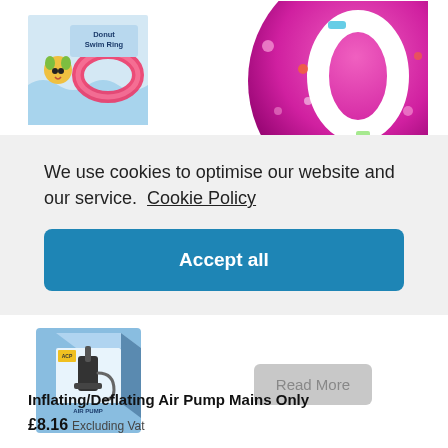[Figure (photo): Top strip showing a donut swim ring product thumbnail on the left and a large pink inflatable donut ball on the right]
We use cookies to optimise our website and our service.  Cookie Policy
Accept all
[Figure (photo): Air pump product box with blue packaging, showing Inflating/Deflating Air Pump Mains Only]
Read More
Inflating/Deflating Air Pump Mains Only
£8.16  Excluding Vat